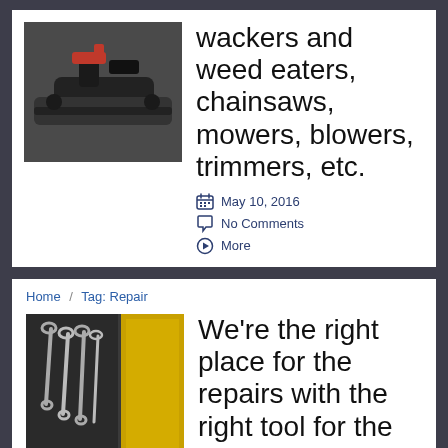[Figure (photo): Close-up photo of a small engine power tool, showing red and black components]
wackers and weed eaters, chainsaws, mowers, blowers, trimmers, etc.
May 10, 2016
No Comments
More
Home / Tag: Repair
[Figure (photo): Photo of wrenches and tools hanging on a wall next to a yellow cabinet]
We're the right place for the repairs with the right tool for the job no matter what small engine